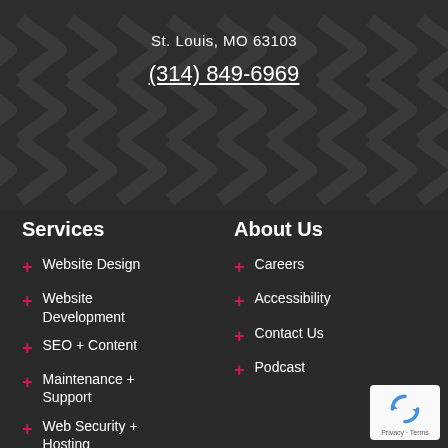St. Louis, MO 63103
(314) 849-6969
Services
About Us
Website Design
Careers
Website Development
Accessibility
SEO + Content
Contact Us
Maintenance + Support
Podcast
Web Security + Hosting
[Figure (logo): Google reCAPTCHA badge with recycling-style arrows logo, Privacy and Terms links]